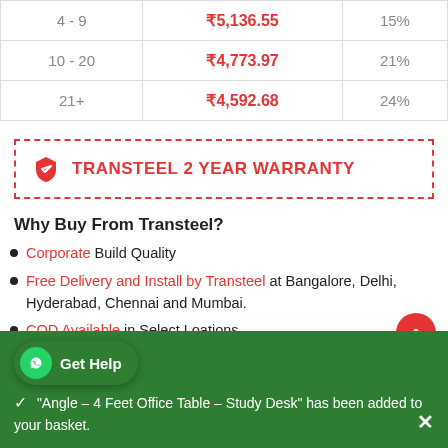|  |  |  |
| --- | --- | --- |
| 4 - 9 | ₹5,136.55 | 15% |
| 10 - 20 | ₹4,773.97 | 21% |
| 21+ | ₹4,592.68 | 24% |
TRANSTEEL 2 YEAR WARRANTY
Why Buy From Transteel?
Corporate Build Quality
Free Delivery and Install by Transteel at Bangalore, Delhi, Hyderabad, Chennai and Mumbai.
COD Available in Select Loations
Get Help
"Angle – 4 Feet Office Table – Study Desk" has been added to your basket.